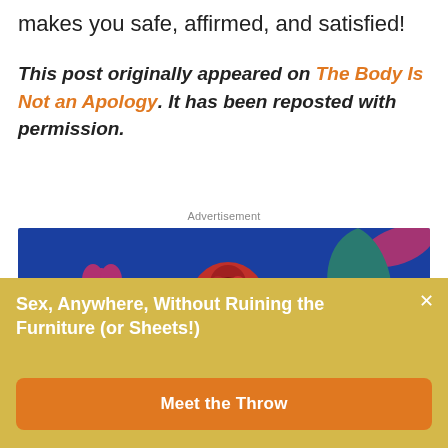makes you safe, affirmed, and satisfied!
This post originally appeared on The Body Is Not an Apology. It has been reposted with permission.
Advertisement
[Figure (photo): Advertisement image showing adult toy products (vibrators) on a white and blue background with pink stars, partial text visible at the bottom reading 'LABOR']
Sex, Anywhere, Without Ruining the Furniture (or Sheets!)
Meet the Throw